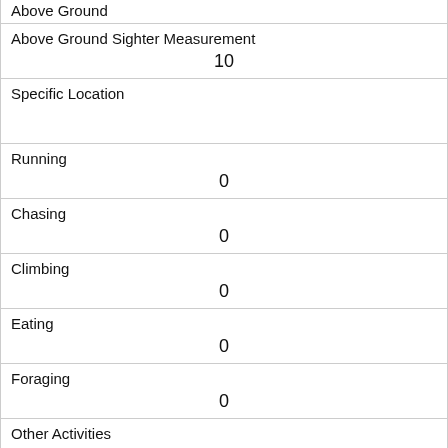| Above Ground |  |
| Above Ground Sighter Measurement | 10 |
| Specific Location |  |
| Running | 0 |
| Chasing | 0 |
| Climbing | 0 |
| Eating | 0 |
| Foraging | 0 |
| Other Activities | digging |
| Kuks | 0 |
| Quaas | 0 |